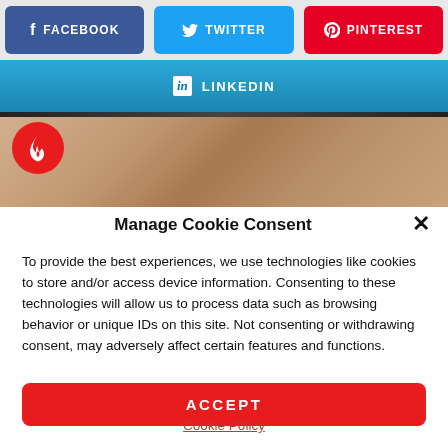[Figure (screenshot): Social share buttons row: Facebook (blue), Twitter (cyan), Pinterest (red)]
[Figure (screenshot): LinkedIn social share button row (blue gradient)]
[Figure (photo): Photo strip with skin-tone background and fire badge icon on left]
Manage Cookie Consent
To provide the best experiences, we use technologies like cookies to store and/or access device information. Consenting to these technologies will allow us to process data such as browsing behavior or unique IDs on this site. Not consenting or withdrawing consent, may adversely affect certain features and functions.
ACCEPT
Cookie Policy